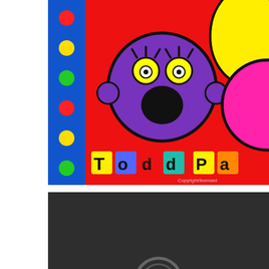[Figure (illustration): Colorful pop-art style illustration showing cartoon characters with large round heads on a bright red background. A purple character with yellow eyes and an open mouth is visible in the center. A magenta/pink character is partially visible on the right. A blue vertical stripe with colorful polka dots (red, yellow, green) runs along the left side. Text 'Todd Pa' is partially visible at the bottom in colorful block letters on colored squares. The image is cropped/cut off on the right side.]
[Figure (photo): Dark gray/black background panel in the lower half of the page. A partial circular graphic or logo element is barely visible at the very bottom center of the dark panel.]